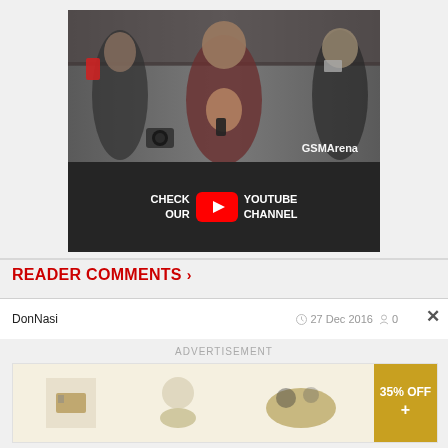[Figure (screenshot): GSMArena YouTube channel promotional image. Top half shows a photo of people holding smartphones in a cafe/bar setting with 'GSMArena' branding. Bottom half is dark gray with text 'CHECK OUR [YouTube logo] YOUTUBE CHANNEL'.]
READER COMMENTS ›
DonNasi   27 Dec 2016   0
ADVERTISEMENT
[Figure (screenshot): Advertisement banner with food/cooking related imagery and '35% OFF' badge on the right side.]